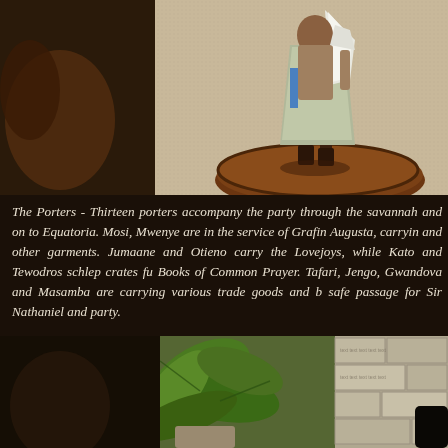[Figure (photo): Close-up photo of a painted miniature figurine standing on a round textured brown base. The figure wears a light grey-green robe/skirt and boots, with a blue element. Background is beige/grey stone texture.]
The Porters - Thirteen porters accompany the party through the savannah and on to Equatoria. Mosi, Mwenye are in the service of Grafin Augusta, carrying and other garments. Jumaane and Otieno carry the Lovejoys, while Kato and Tewodros schlep crates fu Books of Common Prayer. Tafari, Jengo, Gwandova and Masamba are carrying various trade goods and b safe passage for Sir Nathaniel and party.
[Figure (photo): Bottom partial photo showing green tropical leaves on the left and a stone or brick wall texture on the right, with a dark figure partially visible.]